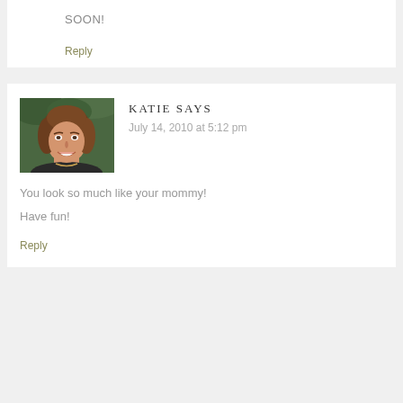SOON!
Reply
[Figure (photo): Profile photo of a young woman with brown hair, smiling, outdoors with green foliage in background]
KATIE SAYS
July 14, 2010 at 5:12 pm
You look so much like your mommy! Have fun!
Reply